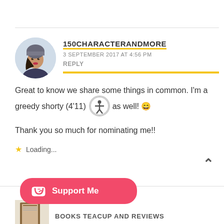[Figure (photo): Circular profile photo of a woman wearing a grey beanie hat, with light background]
150CHARACTERANDMORE
3 SEPTEMBER 2017 AT 4:56 PM
REPLY
Great to know we share some things in common. I'm a greedy shorty (4'11) as well! 😄
Thank you so much for nominating me!!
Loading...
[Figure (photo): Partial circular profile photo of next commenter, partially visible at bottom]
BOOKS TEACUP AND REVIEWS